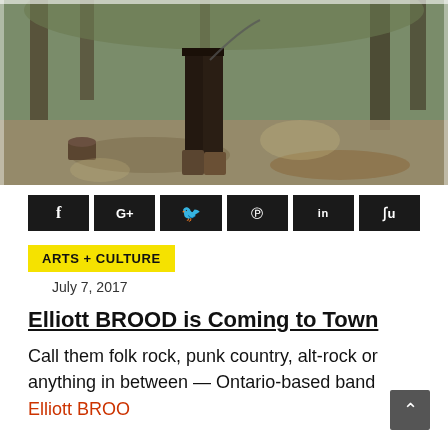[Figure (photo): Outdoor photo showing legs and boots of a person standing in a forested area with dappled light, muted green-brown tones, a small stump visible to the left.]
[Figure (infographic): Row of six social share buttons (Facebook, Google+, Twitter, Pinterest, LinkedIn, StumbleUpon) as black rectangles with white icons.]
ARTS + CULTURE
July 7, 2017
Elliott BROOD is Coming to Town
Call them folk rock, punk country, alt-rock or anything in between — Ontario-based band Elliott BROO